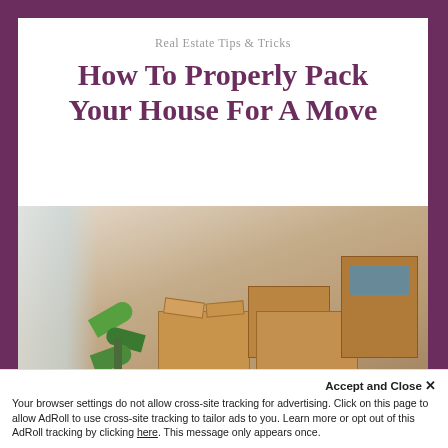Real Estate Tips & Tricks
How To Properly Pack Your House For A Move
[Figure (photo): Photo of a living room with moving boxes and a green plant, overlaid with a purple 'Read The Blog' button]
Accept and Close ✕
Your browser settings do not allow cross-site tracking for advertising. Click on this page to allow AdRoll to use cross-site tracking to tailor ads to you. Learn more or opt out of this AdRoll tracking by clicking here. This message only appears once.